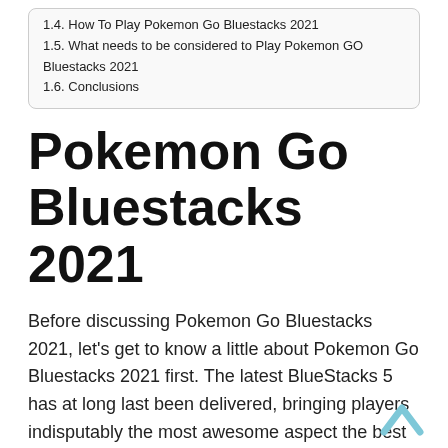1.4. How To Play Pokemon Go Bluestacks 2021
1.5. What needs to be considered to Play Pokemon GO Bluestacks 2021
1.6. Conclusions
Pokemon Go Bluestacks 2021
Before discussing Pokemon Go Bluestacks 2021, let's get to know a little about Pokemon Go Bluestacks 2021 first. The latest BlueStacks 5 has at long last been delivered, bringing players indisputably the most awesome aspect the best with regards to playing versatile games on PC.